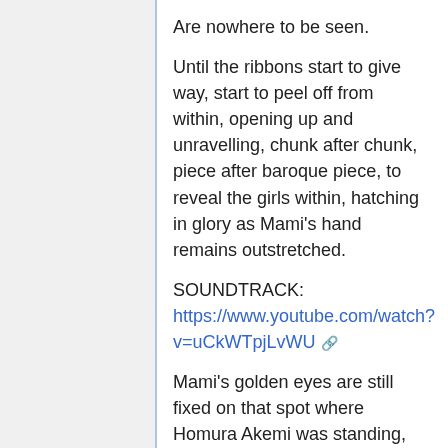Are nowhere to be seen.
Until the ribbons start to give way, start to peel off from within, opening up and unravelling, chunk after chunk, piece after baroque piece, to reveal the girls within, hatching in glory as Mami's hand remains outstretched.
SOUNDTRACK: https://www.youtube.com/watch?v=uCkWTpjLvWU
Mami's golden eyes are still fixed on that spot where Homura Akemi was standing, and she is a statue in motion as she lowers those fingers. "...Move," Mami says to the others, finally turning her head--towards what remains of the central pillar, pulling a small, pointed globe from a pocket and clutching it close.